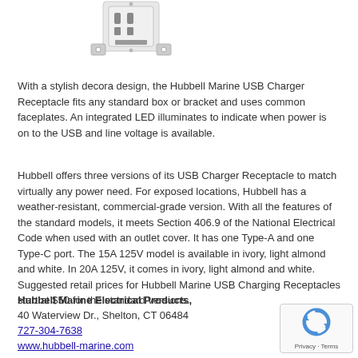[Figure (photo): Hubbell Marine USB Charger Receptacle product photo showing a white decora-style outlet with USB ports]
With a stylish decora design, the Hubbell Marine USB Charger Receptacle fits any standard box or bracket and uses common faceplates. An integrated LED illuminates to indicate when power is on to the USB and line voltage is available.
Hubbell offers three versions of its USB Charger Receptacle to match virtually any power need. For exposed locations, Hubbell has a weather-resistant, commercial-grade version. With all the features of the standard models, it meets Section 406.9 of the National Electrical Code when used with an outlet cover. It has one Type-A and one Type-C port. The 15A 125V model is available in ivory, light almond and white. In 20A 125V, it comes in ivory, light almond and white. Suggested retail prices for Hubbell Marine USB Charging Receptacles start at $50 for the standard versions.
Hubbell Marine Electrical Products,
40 Waterview Dr., Shelton, CT 06484
727-304-7638
www.hubbell-marine.com
[Figure (logo): reCAPTCHA badge with Privacy - Terms text]